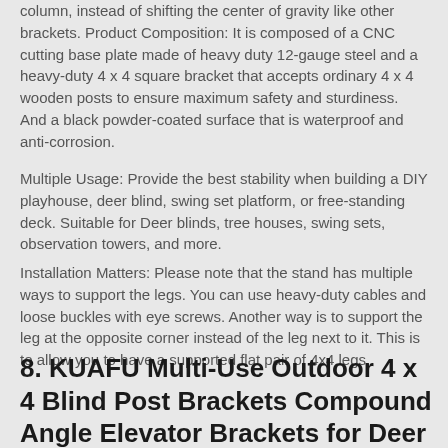column, instead of shifting the center of gravity like other brackets. Product Composition: It is composed of a CNC cutting base plate made of heavy duty 12-gauge steel and a heavy-duty 4 x 4 square bracket that accepts ordinary 4 x 4 wooden posts to ensure maximum safety and sturdiness. And a black powder-coated surface that is waterproof and anti-corrosion.
Multiple Usage: Provide the best stability when building a DIY playhouse, deer blind, swing set platform, or free-standing deck. Suitable for Deer blinds, tree houses, swing sets, observation towers, and more.
Installation Matters: Please note that the stand has multiple ways to support the legs. You can use heavy-duty cables and loose buckles with eye screws. Another way is to support the leg at the opposite corner instead of the leg next to it. This is to allow you to have a supported flat pair of 4x4 legs.
8. KUAFU Multi-Use Outdoor 4 x 4 Blind Post Brackets Compound Angle Elevator Brackets for Deer Stand Hunting Blinds Shooting Shack Tree House, Heavy Duty Steel Black